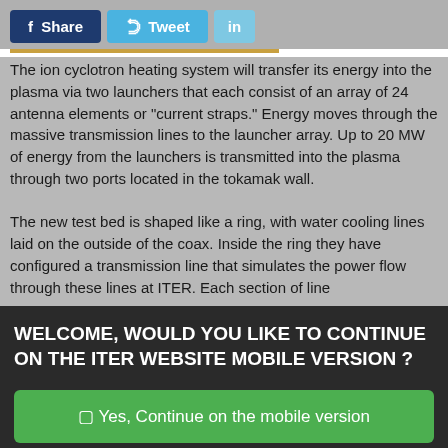[Figure (screenshot): Social share buttons: Facebook Share, Twitter Tweet, LinkedIn]
The ion cyclotron heating system will transfer its energy into the plasma via two launchers that each consist of an array of 24 antenna elements or "current straps." Energy moves through the massive transmission lines to the launcher array. Up to 20 MW of energy from the launchers is transmitted into the plasma through two ports located in the tokamak wall.
The new test bed is shaped like a ring, with water cooling lines laid on the outside of the coax. Inside the ring they have configured a transmission line that simulates the power flow through these lines at ITER. Each section of line
WELCOME, WOULD YOU LIKE TO CONTINUE ON THE ITER WEBSITE MOBILE VERSION ?
☐ Yes, Continue on the mobile version
☐ No, continue on the desktop version